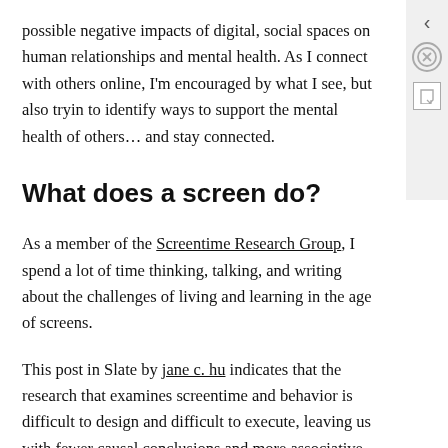possible negative impacts of digital, social spaces on human relationships and mental health. As I connect with others online, I'm encouraged by what I see, but also trying to identify ways to support the mental health of others… and stay connected.
What does a screen do?
As a member of the Screentime Research Group, I spend a lot of time thinking, talking, and writing about the challenges of living and learning in the age of screens.
This post in Slate by jane c. hu indicates that the research that examines screentime and behavior is difficult to design and difficult to execute, leaving us with fewer causal conclusions and more associative studies to rely on for decision-making and policy.